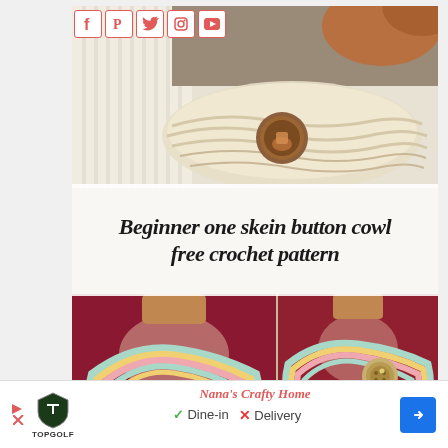[Figure (photo): Social media icons (Facebook, Pinterest, Twitter, Instagram, YouTube) in red/coral color on white boxes]
[Figure (infographic): Composite image for 'Beginner one skein button cowl free crochet pattern' by Nana's Crafty Home. Top: cream/beige crocheted cowl with decorative button on white ribbed sweater background. Middle: white overlay with cursive/handwritten style title text. Bottom left: colorful striped (pastel blue, yellow, pink) infinity cowl worn by person in dark top. Bottom right: same striped cowl with button closure shown.]
[Figure (photo): Advertisement banner for TopGolf showing Dine-in with checkmark and Delivery with X mark, plus directional arrow icon]